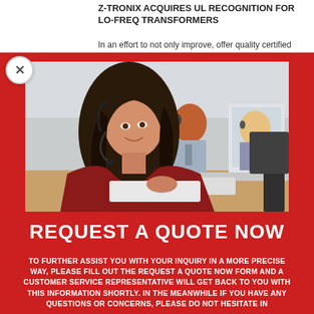Z-TRONIX ACQUIRES UL RECOGNITION FOR LO-FREQ TRANSFORMERS
In an effort to not only improve, offer quality certified
[Figure (photo): Customer service representative smiling wearing a headset, sitting at a desk with a keyboard and computer monitor. Additional colleagues visible in background at a call center office.]
REQUEST A QUOTE NOW
TO FURTHER ASSIST YOU WITH YOUR INQUIRY IN A MORE PRECISE WAY, PLEASE FILL OUT THE REQUEST A QUOTE NOW FORM AND A CUSTOMER SERVICE REPRESENTATIVE WILL GET BACK TO YOU WITH THIS INFORMATION SHORTLY. IN THE MEANWHILE IF YOU HAVE ANY QUESTIONS OR CONCERNS, PLEASE DO NOT HESITATE IN